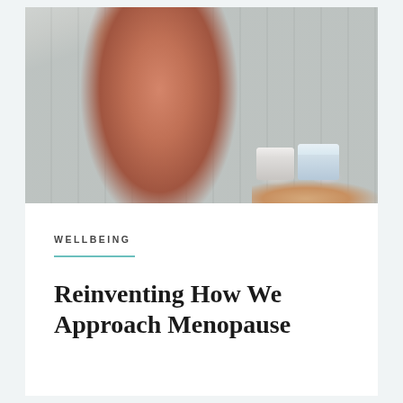[Figure (photo): A woman with curly dark hair touching her neck/ear area, wearing a red/white patterned sweater, holding two skincare product jars in her outstretched hand. Background shows wooden slat fence. Outdoor setting.]
WELLBEING
Reinventing How We Approach Menopause